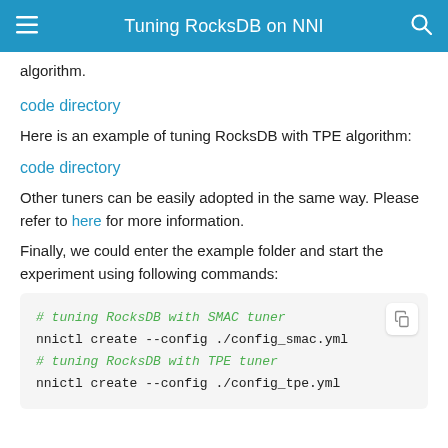Tuning RocksDB on NNI
algorithm.
code directory
Here is an example of tuning RocksDB with TPE algorithm:
code directory
Other tuners can be easily adopted in the same way. Please refer to here for more information.
Finally, we could enter the example folder and start the experiment using following commands:
# tuning RocksDB with SMAC tuner
nnictl create --config ./config_smac.yml
# tuning RocksDB with TPE tuner
nnictl create --config ./config_tpe.yml